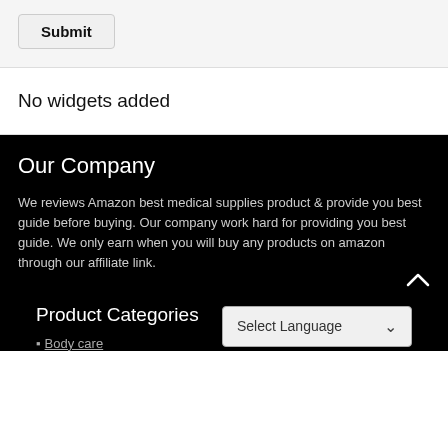Submit
No widgets added
Our Company
We reviews Amazon best medical supplies product & provide you best guide before buying. Our company work hard for providing you best guide. We only earn when you will buy any products on amazon through our affiliate link.
Product Categories
Body care
Select Language